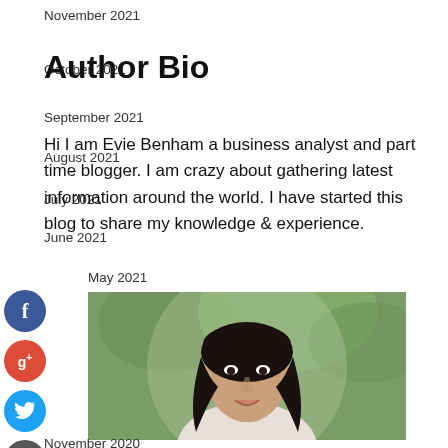November 2021
Author Bio
October 2021
September 2021
Hi I am Evie Benham a business analyst and part time blogger. I am crazy about gathering latest information around the world. I have started this blog to share my knowledge & experience.
August 2021
July 2021
June 2021
May 2021
[Figure (photo): Portrait photo of Evie Benham, a woman with dark curly hair, smiling, in front of a green outdoors background]
November 2020